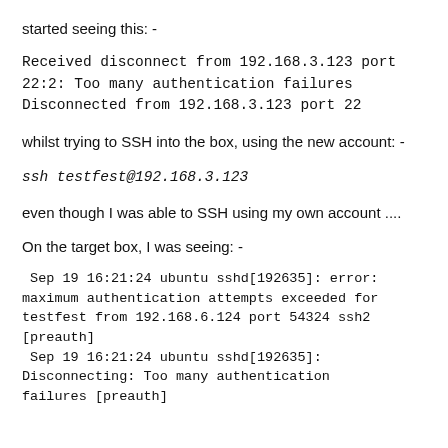started seeing this: -
Received disconnect from 192.168.3.123 port 22:2: Too many authentication failures
Disconnected from 192.168.3.123 port 22
whilst trying to SSH into the box, using the new account: -
ssh testfest@192.168.3.123
even though I was able to SSH using my own account ....
On the target box, I was seeing: -
Sep 19 16:21:24 ubuntu sshd[192635]: error: maximum authentication attempts exceeded for testfest from 192.168.6.124 port 54324 ssh2 [preauth]
 Sep 19 16:21:24 ubuntu sshd[192635]: Disconnecting: Too many authentication failures [preauth]